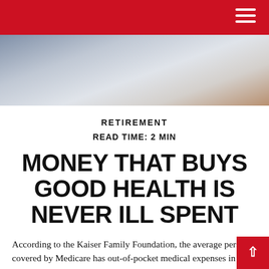RETIREMENT
[Figure (photo): Close-up photo of hands or documents on a light surface, suggesting a financial or medical planning context.]
RETIREMENT
READ TIME: 2 MIN
MONEY THAT BUYS GOOD HEALTH IS NEVER ILL SPENT
According to the Kaiser Family Foundation, the average person covered by Medicare has out-of-pocket medical expenses in excess of $5,400 a year. Premium costs accounted for 40% of the total, while the costs of facility...